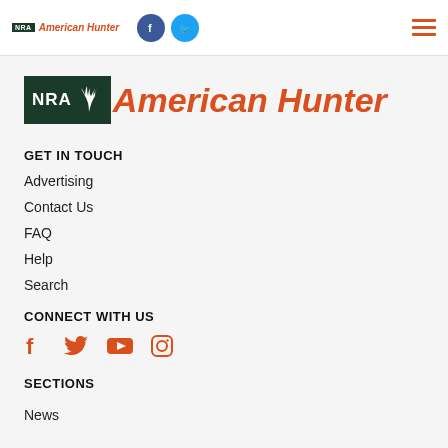NRA American Hunter — top navigation bar with Facebook and Twitter icons and hamburger menu
[Figure (logo): NRA American Hunter large logo with green NRA box, antler graphic, and orange italic 'American Hunter' text]
GET IN TOUCH
Advertising
Contact Us
FAQ
Help
Search
CONNECT WITH US
[Figure (infographic): Social media icons row: Facebook, Twitter, YouTube, Instagram — all in red/orange]
SECTIONS
News